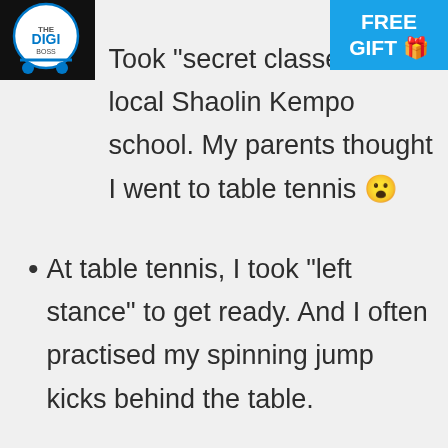[Figure (logo): The Digi logo in a circle with a cart/trolley icon and blue underline]
[Figure (infographic): Blue banner in top right corner reading FREE GIFT with gift emoji]
Took "secret classes" at a local Shaolin Kempo school. My parents thought I went to table tennis 😮
At table tennis, I took "left stance" to get ready. And I often practised my spinning jump kicks behind the table.